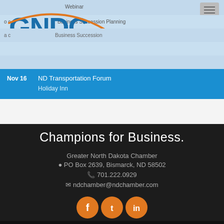[Figure (logo): GNDC Greater North Dakota Chamber logo with blue letters and orange swoosh]
Webinar
o c Business Succession Planning
Nov 16  ND Transportation Forum
Holiday Inn
Champions for Business.
Greater North Dakota Chamber
PO Box 2639, Bismarck, ND 58502
701.222.0929
ndchamber@ndchamber.com
[Figure (illustration): Social media icons: Facebook, Twitter, LinkedIn in orange circles]